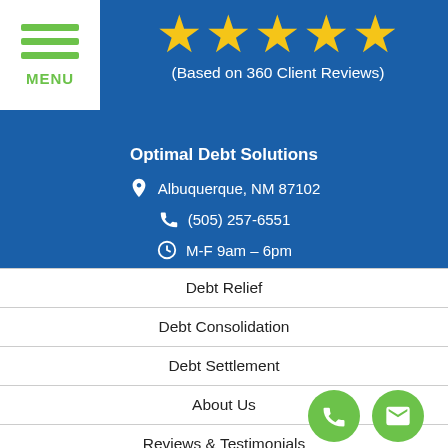[Figure (screenshot): Menu hamburger icon with three green lines and MENU label on white background]
[Figure (infographic): Five gold stars rating]
(Based on 360 Client Reviews)
Optimal Debt Solutions
Albuquerque, NM 87102
(505) 257-6551
M-F 9am – 6pm
Debt Relief
Debt Consolidation
Debt Settlement
About Us
Reviews & Testimonials